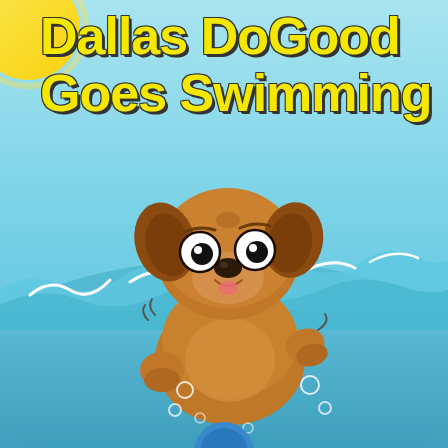[Figure (illustration): Children's book cover illustration. Background: light blue sky gradient at top transitioning to aqua/cyan water. Top-left corner has a yellow sun partially visible. Center: a cartoon puppy dog (brown/tan colored) swimming in wavy water, looking nervous with wide white eyes and open mouth. Water has white wave crests and small bubble circles around the dog. Bottom edge shows a partial view of another blue cartoon character. The dog has large floppy brown ears, short legs paddling in water.]
Dallas DoGood Goes Swimming